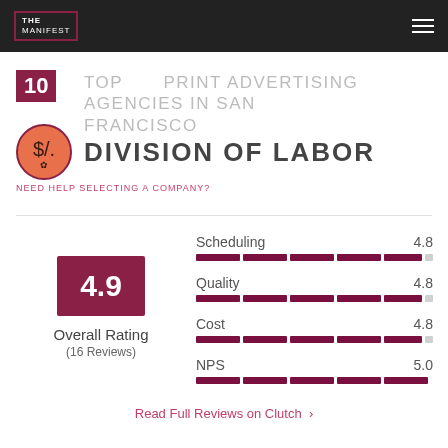THE MANIFEST
TOP 10 PRINT ADVERTISING AGENCIES IN SAN FRANCISCO
NEED HELP SELECTING A COMPANY?
DIVISION OF LABOR
4.9 Overall Rating (16 Reviews)
| Metric | Score |
| --- | --- |
| Scheduling | 4.8 |
| Quality | 4.8 |
| Cost | 4.8 |
| NPS | 5.0 |
Read Full Reviews on Clutch >